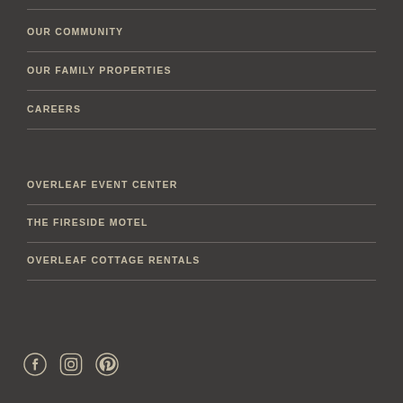OUR COMMUNITY
OUR FAMILY PROPERTIES
CAREERS
OVERLEAF EVENT CENTER
THE FIRESIDE MOTEL
OVERLEAF COTTAGE RENTALS
[Figure (illustration): Social media icons: Facebook, Instagram, Pinterest]